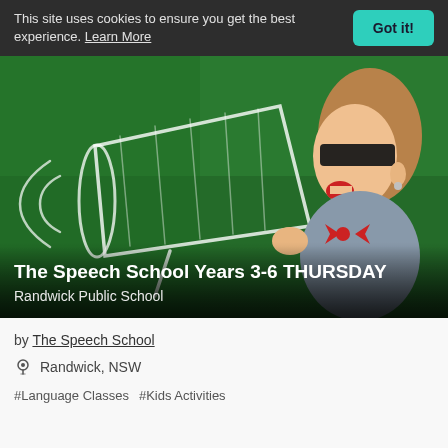This site uses cookies to ensure you get the best experience. Learn More
[Figure (photo): A girl with glasses shouting into a chalk-drawn megaphone on a green chalkboard background]
The Speech School Years 3-6 THURSDAY
Randwick Public School
by The Speech School
Randwick, NSW
#Language Classes  #Kids Activities